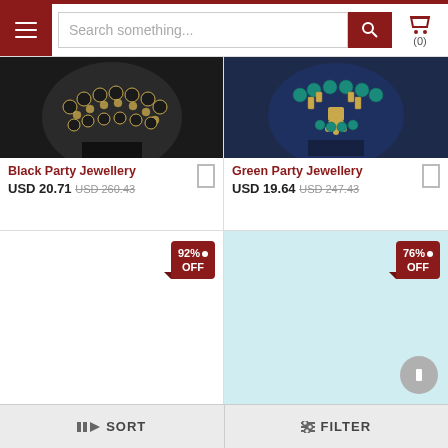Search something... (0)
[Figure (photo): Black beaded necklace on dark display bust]
Black Party Jewellery  USD 20.71  USD 260.43
[Figure (photo): Green and gold necklace on navy blue display bust]
Green Party Jewellery  USD 19.64  USD 247.43
[Figure (photo): Product image placeholder with 92% OFF badge]
[Figure (photo): Light blue product image placeholder with 76% OFF badge]
SORT   FILTER